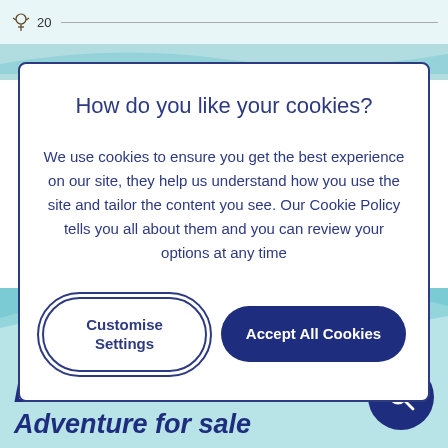[Figure (screenshot): Navigation bar with insect icon, number 20, and a horizontal line]
How do you like your cookies?
We use cookies to ensure you get the best experience on our site, they help us understand how you use the site and tailor the content you see. Our Cookie Policy tells you all about them and you can review your options at any time
Customise Settings
Accept All Cookies
Borneo Rainforest Adventure for sale